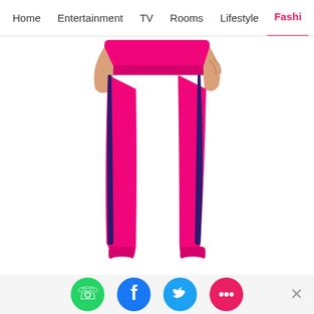Home   Entertainment   TV   Rooms   Lifestyle   Fashi...
[Figure (photo): A person wearing bright pink jogger/tracksuit bottoms with a dark side stripe and white trainers, cropped at waist level on a white background.]
[Figure (infographic): Four social sharing icons in a row: WhatsApp (green), Facebook (blue), Twitter (light blue), Comments/chat (pink/red). A grey close (X) button appears to the right.]